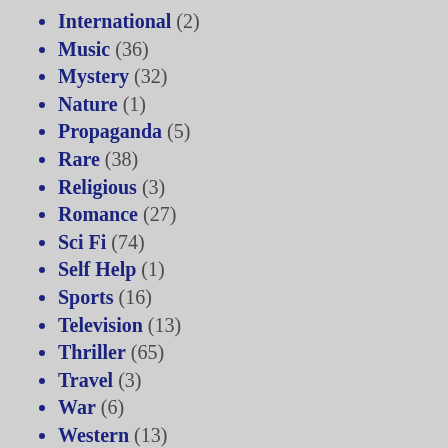International (2)
Music (36)
Mystery (32)
Nature (1)
Propaganda (5)
Rare (38)
Religious (3)
Romance (27)
Sci Fi (74)
Self Help (1)
Sports (16)
Television (13)
Thriller (65)
Travel (3)
War (6)
Western (13)